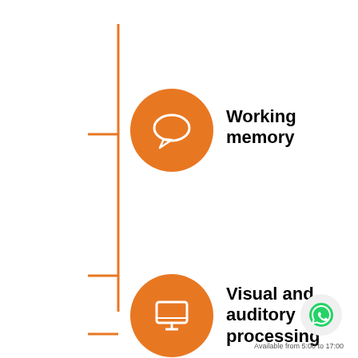[Figure (infographic): Two items connected to a vertical orange line on the left side. First item: orange circle with speech bubble icon, labeled 'Working memory'. Second item: orange circle with monitor/screen icon, labeled 'Visual and auditory processing'. A horizontal orange tick mark connects each circle to the vertical orange line.]
Working memory
Visual and auditory processing
[Figure (logo): WhatsApp logo in green inside a light gray circle button]
Available from 5:00 to 17:00